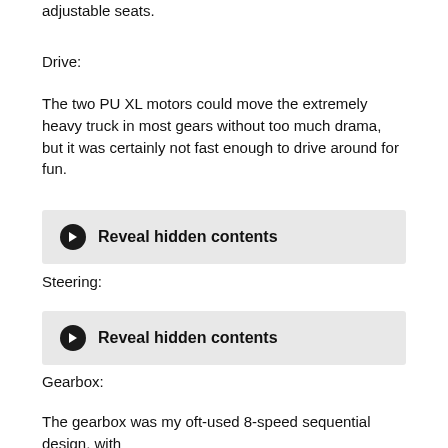adjustable seats.
Drive:
The two PU XL motors could move the extremely heavy truck in most gears without too much drama, but it was certainly not fast enough to drive around for fun.
[Figure (other): Button/toggle element labeled 'Reveal hidden contents' with a right-arrow icon on dark circular background]
Steering:
[Figure (other): Button/toggle element labeled 'Reveal hidden contents' with a right-arrow icon on dark circular background]
Gearbox:
The gearbox was my oft-used 8-speed sequential design, with certain reinforcements necessary for such a big model. Shifting was done by a PU L motor through a worm gear. I did some fairly complicated programming in the Powered Up app to make a semi-automatic gearbox. There were both manual and automatic modes that were triggered by pressing a button to